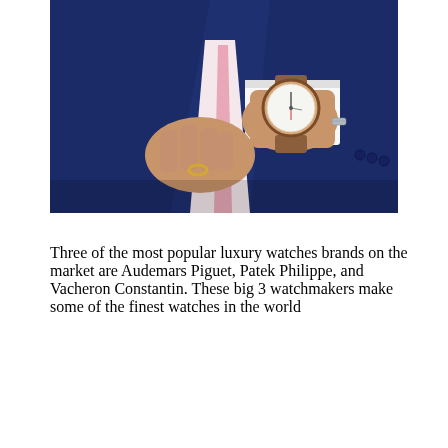[Figure (photo): A man in a navy blue suit adjusting his watch on his wrist. He is wearing a white shirt with cufflinks, a pink tie, and a gold ring. The watch has a white face and brown leather strap.]
Three of the most popular luxury watches brands on the market are Audemars Piguet, Patek Philippe, and Vacheron Constantin. These big 3 watchmakers make some of the finest watches in the world